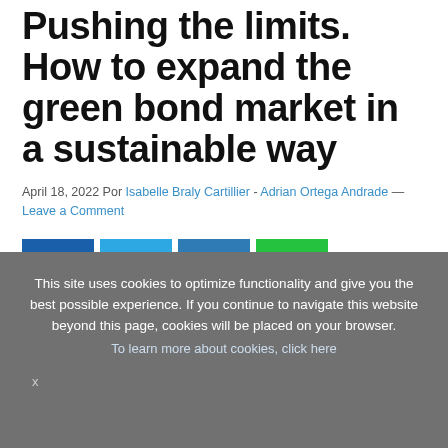Pushing the limits. How to expand the green bond market in a sustainable way
April 18, 2022 Por Isabelle Braly Cartillier - Adrian Ortega Andrade — Leave a Comment
[Figure (other): Social media share buttons: Facebook, Twitter, LinkedIn, WhatsApp]
This site uses cookies to optimize functionality and give you the best possible experience. If you continue to navigate this website beyond this page, cookies will be placed on your browser. To learn more about cookies, click here